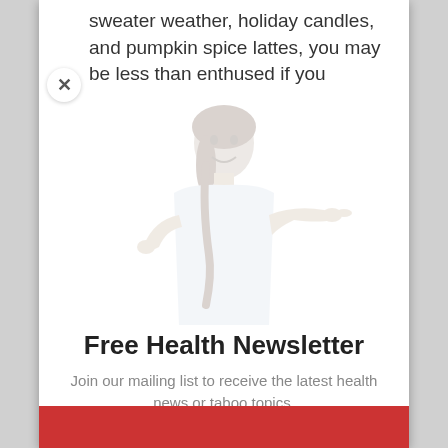sweater weather, holiday candles, and pumpkin spice lattes, you may be less than enthused if you
[Figure (illustration): A woman in a white blouse pointing to the side with one hand and touching her chin with the other, shown as a faded/watermark-style image]
Free Health Newsletter
Join our mailing list to receive the latest health news or taboo topics.